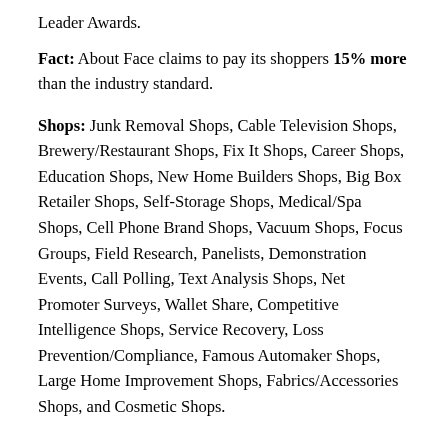Leader Awards.
Fact: About Face claims to pay its shoppers 15% more than the industry standard.
Shops: Junk Removal Shops, Cable Television Shops, Brewery/Restaurant Shops, Fix It Shops, Career Shops, Education Shops, New Home Builders Shops, Big Box Retailer Shops, Self-Storage Shops, Medical/Spa Shops, Cell Phone Brand Shops, Vacuum Shops, Focus Groups, Field Research, Panelists, Demonstration Events, Call Polling, Text Analysis Shops, Net Promoter Surveys, Wallet Share, Competitive Intelligence Shops, Service Recovery, Loss Prevention/Compliance, Famous Automaker Shops, Large Home Improvement Shops, Fabrics/Accessories Shops, and Cosmetic Shops.